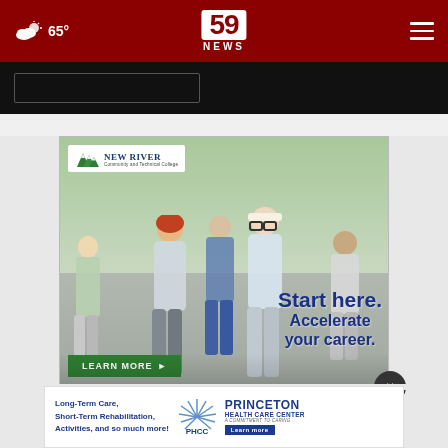59 NEWS — 65°
[Figure (screenshot): Search bar area on dark background]
[Figure (photo): New River Community and Technical College advertisement showing students walking outdoors with text 'Start here. Accelerate your career.' and a green LEARN MORE button]
[Figure (photo): Princeton Health Care Center advertisement: 'Long-Term Care, Short-Term Rehabilitation, Activities, and so much more!' with PHCC logo and Learn more button]